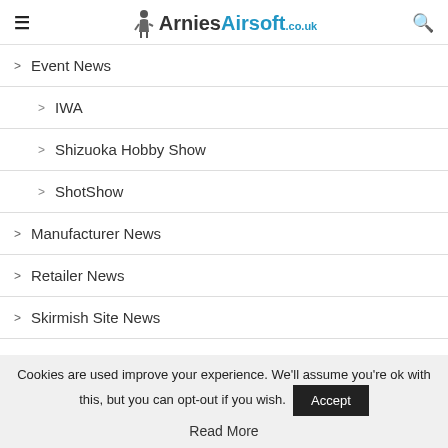Arnies Airsoft .co.uk
Event News
IWA
Shizuoka Hobby Show
ShotShow
Manufacturer News
Retailer News
Skirmish Site News
Sport News
Cookies are used improve your experience. We'll assume you're ok with this, but you can opt-out if you wish. Accept Read More